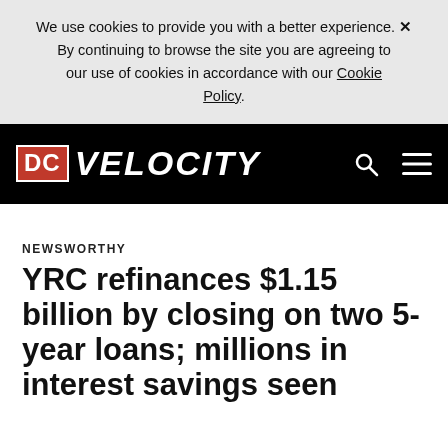We use cookies to provide you with a better experience. × By continuing to browse the site you are agreeing to our use of cookies in accordance with our Cookie Policy.
[Figure (logo): DC Velocity logo on black navigation bar with search and menu icons]
NEWSWORTHY
YRC refinances $1.15 billion by closing on two 5-year loans; millions in interest savings seen